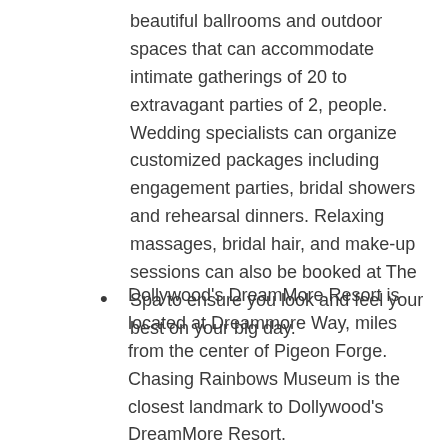beautiful ballrooms and outdoor spaces that can accommodate intimate gatherings of 20 to extravagant parties of 2, people. Wedding specialists can organize customized packages including engagement parties, bridal showers and rehearsal dinners. Relaxing massages, bridal hair, and make-up sessions can also be booked at The Spa to ensure you look and feel your best on your big day.
Dollywood's DreamMore Resort is located at Dreammore Way, miles from the center of Pigeon Forge. Chasing Rainbows Museum is the closest landmark to Dollywood's DreamMore Resort.